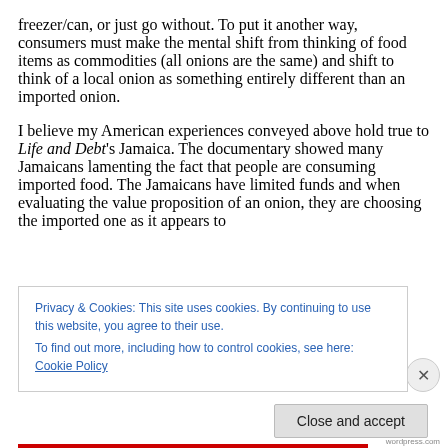freezer/can, or just go without. To put it another way, consumers must make the mental shift from thinking of food items as commodities (all onions are the same) and shift to think of a local onion as something entirely different than an imported onion.
I believe my American experiences conveyed above hold true to Life and Debt's Jamaica. The documentary showed many Jamaicans lamenting the fact that people are consuming imported food. The Jamaicans have limited funds and when evaluating the value proposition of an onion, they are choosing the imported one as it appears to
Privacy & Cookies: This site uses cookies. By continuing to use this website, you agree to their use.
To find out more, including how to control cookies, see here: Cookie Policy
Close and accept